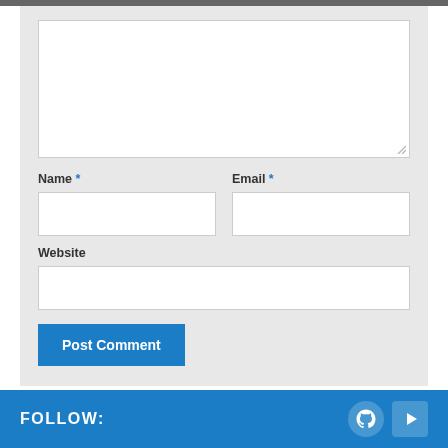[Figure (screenshot): Comment form with textarea, Name, Email, Website fields, Post Comment button]
This site uses Akismet to reduce spam. Learn how your comment data is processed.
FOLLOW: